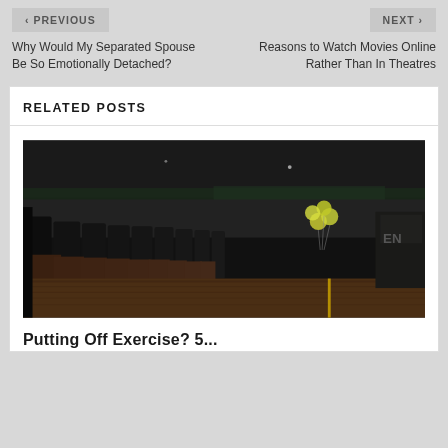< PREVIOUS    NEXT >
Why Would My Separated Spouse Be So Emotionally Detached?
Reasons to Watch Movies Online Rather Than In Theatres
RELATED POSTS
[Figure (photo): Interior of a gym with rows of treadmills on a wooden floor, dark ceiling, green accent lighting in background, yellow balloons on the right side, dim atmospheric lighting]
Putting Off Exercise? 5...